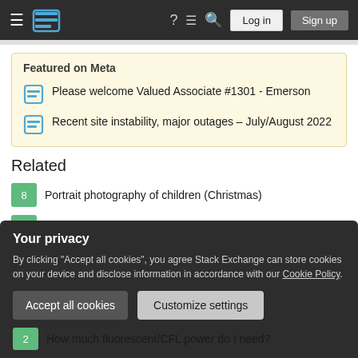Stack Exchange navigation bar with hamburger menu, logo, help, chat, search icons, Log in and Sign up buttons
Featured on Meta
Please welcome Valued Associate #1301 - Emerson
Recent site instability, major outages – July/August 2022
Related
8  Portrait photography of children (Christmas)
1  Softbox selection for my hobby room
Your privacy
By clicking "Accept all cookies", you agree Stack Exchange can store cookies on your device and disclose information in accordance with our Cookie Policy.
2  How much fluorescent/CFL power do I need?